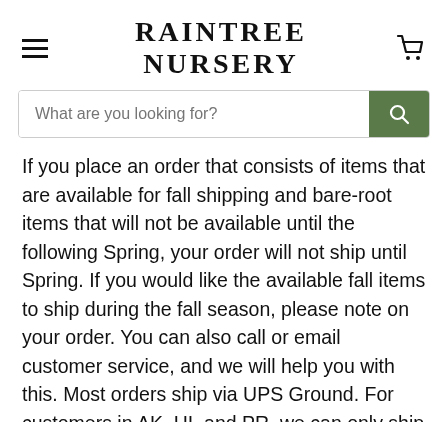RAINTREE NURSERY
If you place an order that consists of items that are available for fall shipping and bare-root items that will not be available until the following Spring, your order will not ship until Spring. If you would like the available fall items to ship during the fall season, please note on your order. You can also call or email customer service, and we will help you with this. Most orders ship via UPS Ground. For customers in AK, HI, and PR, we can only ship to you via USPS.